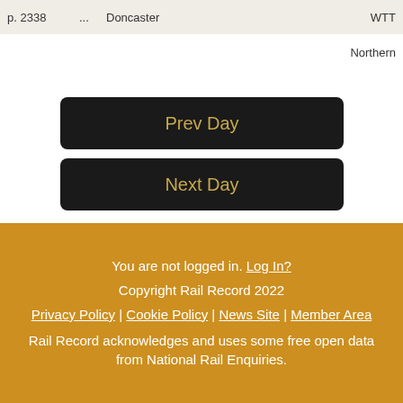| p. 2338 | ... | Doncaster | WTT |
Northern
Prev Day
Next Day
You are not logged in. Log In?
Copyright Rail Record 2022
Privacy Policy | Cookie Policy | News Site | Member Area
Rail Record acknowledges and uses some free open data from National Rail Enquiries.